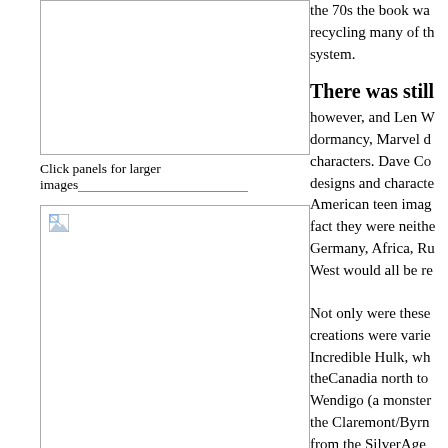[Figure (other): Comic panel image placeholder (top left), bordered rectangle, mostly blank]
Click panels for larger images
[Figure (photo): Large image box with broken image icon (bottom left)]
the 70s the book was recycling many of th system.
There was still
however, and Len W dormancy, Marvel d characters. Dave Co designs and characte American teen imag fact they were neithe Germany, Africa, Ru West would all be re Not only were these creations were varie Incredible Hulk, wh theCanadia north to Wendigo (a monster the Claremont/Byrn from the SilverAge  his first legendary c as one of Cockrum's team would truly be catchphrase that ado